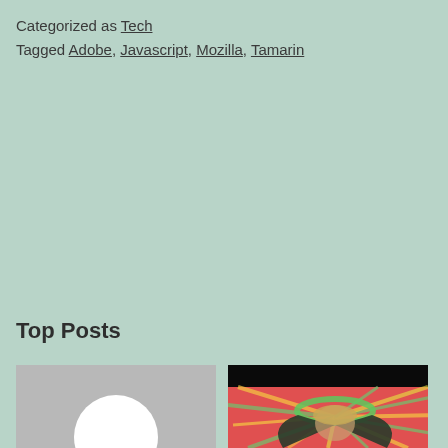Categorized as Tech
Tagged Adobe, Javascript, Mozilla, Tamarin
Top Posts
[Figure (photo): Placeholder avatar image with gray background and white circle silhouette]
[Figure (photo): Person with wings against a colorful psychedelic background with black top bar]